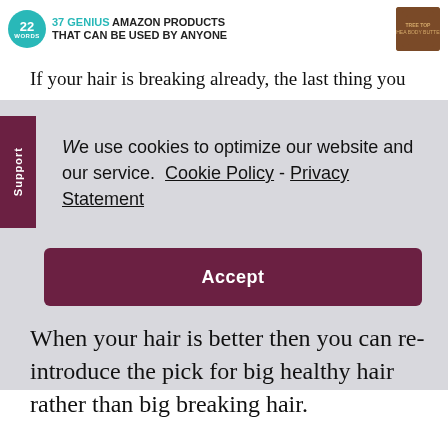37 GENIUS AMAZON PRODUCTS THAT CAN BE USED BY ANYONE
If your hair is breaking already, the last thing you
We use cookies to optimize our website and our service.  Cookie Policy - Privacy Statement
Accept
When your hair is better then you can re-introduce the pick for big healthy hair rather than big breaking hair.